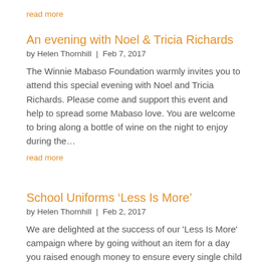read more
An evening with Noel & Tricia Richards
by Helen Thornhill  |  Feb 7, 2017
The Winnie Mabaso Foundation warmly invites you to attend this special evening with Noel and Tricia Richards. Please come and support this event and help to spread some Mabaso love. You are welcome to bring along a bottle of wine on the night to enjoy during the…
read more
School Uniforms 'Less Is More'
by Helen Thornhill  |  Feb 2, 2017
We are delighted at the success of our 'Less Is More' campaign where by going without an item for a day you raised enough money to ensure every single child